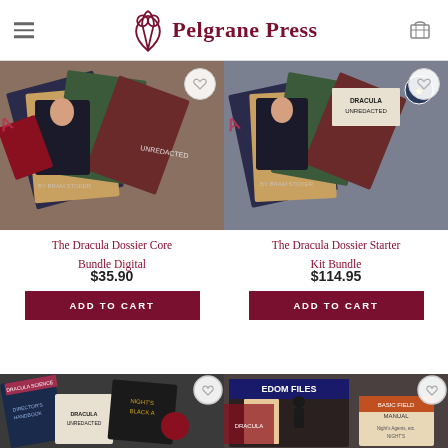Pelgrane Press
[Figure (photo): Product image for The Dracula Dossier Core Bundle Digital - scattered book/card game components]
The Dracula Dossier Core Bundle Digital
$35.90
ADD TO CART
[Figure (photo): Product image for The Dracula Dossier Starter Kit Bundle - scattered book and card game components]
The Dracula Dossier Starter Kit Bundle
$114.95
ADD TO CART
[Figure (photo): Partial product image bottom left - Dracula Unredacted books and Night's Black Agents materials]
[Figure (photo): Partial product image bottom right - Freedom Files and Basic Field Manual documents]